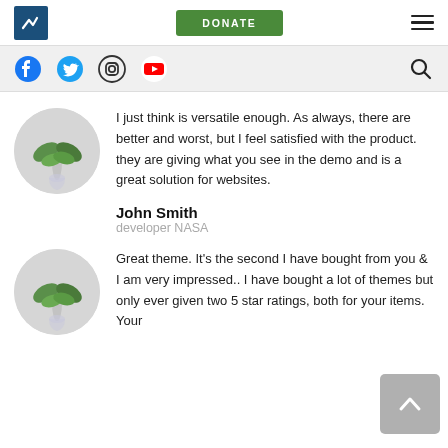DONATE
[Figure (infographic): Social media icons: Facebook, Twitter, Instagram, YouTube and a search icon]
I just think is versatile enough. As always, there are better and worst, but I feel satisfied with the product. they are giving what you see in the demo and is a great solution for websites.
John Smith
developer NASA
Great theme. It’s the second I have bought from you & I am very impressed.. I have bought a lot of themes but only ever given two 5 star ratings, both for your items. Your